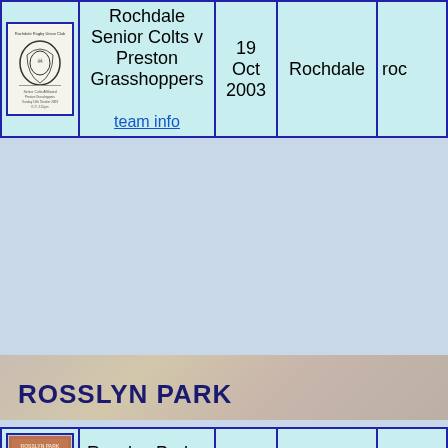| Programme | Match | Date | Venue |  |
| --- | --- | --- | --- | --- |
| [Rochdale RUFC programme image] | Rochdale Senior Colts v Preston Grasshoppers
team info | 19 Oct 2003 | Rochdale | roc... |
ROSSLYN PARK
| Programme | Match | Date | Venue |  |
| --- | --- | --- | --- | --- |
| [Rosslyn Park FC programme image] | Rosslyn Park v Bedford
Team Info | 2 Nov 1940 | Old Deer Park | ros... |
| [programme image] |  |  |  | go... |